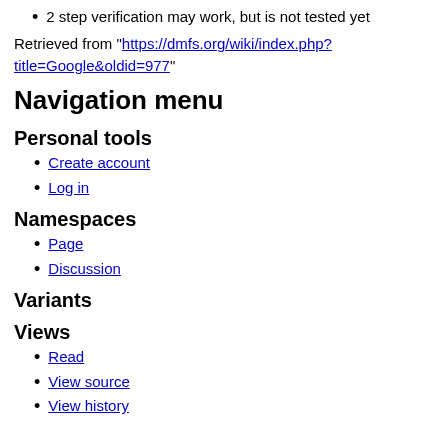2 step verification may work, but is not tested yet
Retrieved from "https://dmfs.org/wiki/index.php?title=Google&oldid=977"
Navigation menu
Personal tools
Create account
Log in
Namespaces
Page
Discussion
Variants
Views
Read
View source
View history